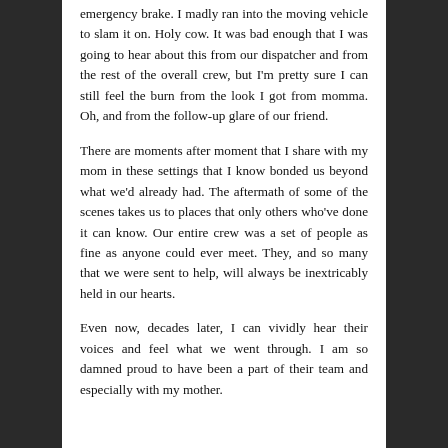emergency brake. I madly ran into the moving vehicle to slam it on. Holy cow. It was bad enough that I was going to hear about this from our dispatcher and from the rest of the overall crew, but I'm pretty sure I can still feel the burn from the look I got from momma. Oh, and from the follow-up glare of our friend.
There are moments after moment that I share with my mom in these settings that I know bonded us beyond what we'd already had. The aftermath of some of the scenes takes us to places that only others who've done it can know. Our entire crew was a set of people as fine as anyone could ever meet. They, and so many that we were sent to help, will always be inextricably held in our hearts.
Even now, decades later, I can vividly hear their voices and feel what we went through. I am so damned proud to have been a part of their team and especially with my mother.